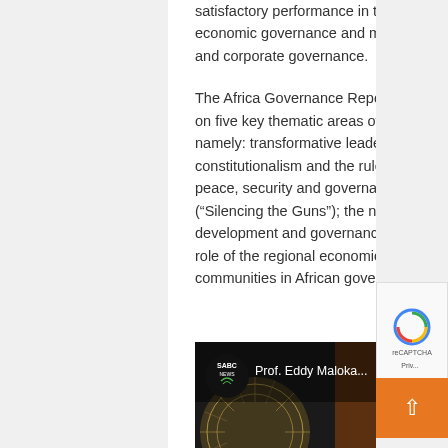satisfactory performance in the area of economic governance and management, and corporate governance.
The Africa Governance Report focuses on five key thematic areas of priority, namely: transformative leadership; constitutionalism and the rule of law; peace, security and governance (“Silencing the Guns”); the nexus of development and governance; and the role of the regional economic communities in African governance.
[Figure (screenshot): Video thumbnail showing SABC News logo and text 'Prof. Eddy Maloka...' with a three-dot menu icon, overlaid on a dark background with decorative circular pattern]